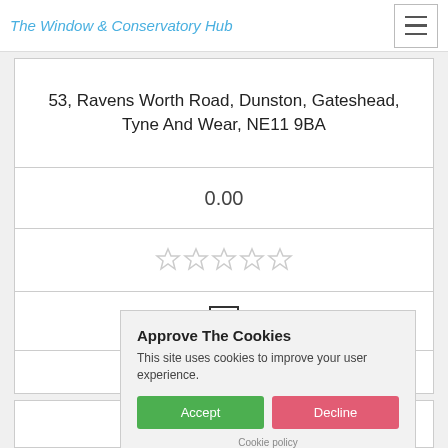The Window & Conservatory Hub
53, Ravens Worth Road, Dunston, Gateshead, Tyne And Wear, NE11 9BA
0.00
[Figure (other): Five empty star rating icons (grey outline)]
[Figure (other): Empty checkbox outline]
Get a Quote
Approve The Cookies
This site uses cookies to improve your user experience.
Accept | Decline
Cookie policy
Glaze-Tech